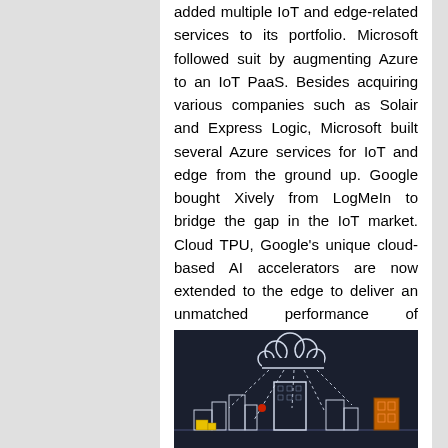added multiple IoT and edge-related services to its portfolio. Microsoft followed suit by augmenting Azure to an IoT PaaS. Besides acquiring various companies such as Solair and Express Logic, Microsoft built several Azure services for IoT and edge from the ground up. Google bought Xively from LogMeIn to bridge the gap in the IoT market. Cloud TPU, Google's unique cloud-based AI accelerators are now extended to the edge to deliver an unmatched performance of inferencing ML models at the edge.
[Figure (illustration): Dark blue/navy background illustration showing a smart city scene with a cloud icon at top connected by dashed lines to buildings and city infrastructure below, representing IoT cloud-to-edge connectivity.]